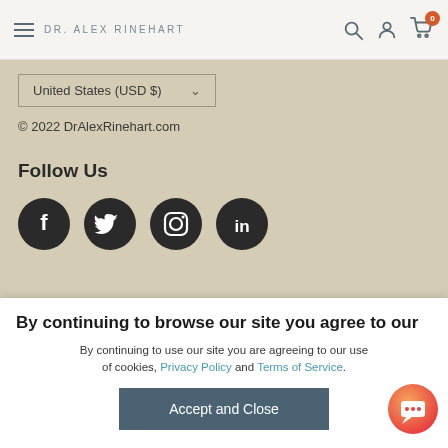DR. ALEX RINEHART
United States (USD $)
© 2022 DrAlexRinehart.com
Follow Us
[Figure (illustration): Four social media icons: Facebook, Twitter, Instagram, LinkedIn]
By continuing to browse our site you agree to our use of cookies, revised privacy policy and terms of
By continuing to use our site you are agreeing to our use of cookies, Privacy Policy and Terms of Service.
Accept and Close